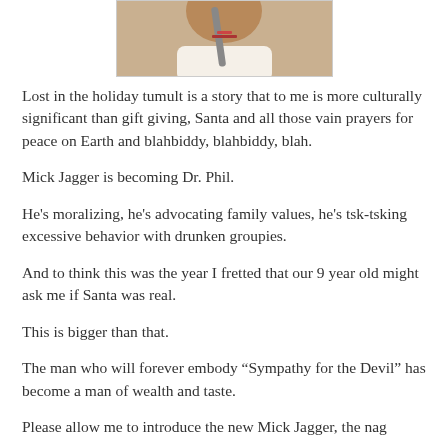[Figure (photo): Partial photo of a person, cropped at the top, showing neck/shoulder area with a white garment, centered on the page.]
Lost in the holiday tumult is a story that to me is more culturally significant than gift giving, Santa and all those vain prayers for peace on Earth and blahbiddy, blahbiddy, blah.
Mick Jagger is becoming Dr. Phil.
He's moralizing, he's advocating family values, he's tsk-tsking excessive behavior with drunken groupies.
And to think this was the year I fretted that our 9 year old might ask me if Santa was real.
This is bigger than that.
The man who will forever embody “Sympathy for the Devil” has become a man of wealth and taste.
Please allow me to introduce the new Mick Jagger, the nag